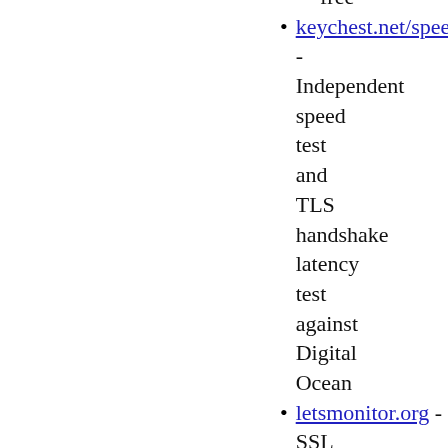free
keychest.net/speedtest - Independent speed test and TLS handshake latency test against Digital Ocean
letsmonitor.org - SSL monitoring, free for up to 5 monitors
loader.io — Free load